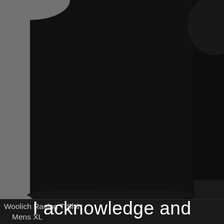[Figure (photo): Product photo of a black T-shirt on a grey background, cropped to show bottom portion of shirt]
Woolich Racing T-Shirt
  Mens XL
[Figure (photo): Dark/black product image with red border outline, partially visible at bottom of page]
I acknowledge and